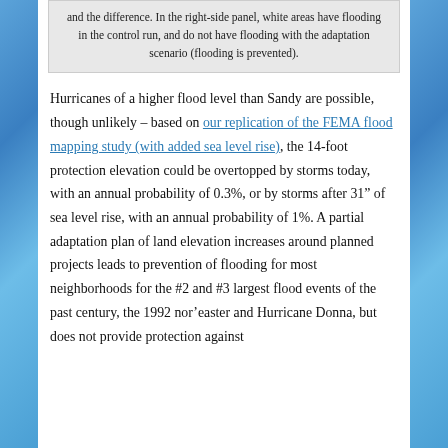and the difference. In the right-side panel, white areas have flooding in the control run, and do not have flooding with the adaptation scenario (flooding is prevented).
Hurricanes of a higher flood level than Sandy are possible, though unlikely – based on our replication of the FEMA flood mapping study (with added sea level rise), the 14-foot protection elevation could be overtopped by storms today, with an annual probability of 0.3%, or by storms after 31″ of sea level rise, with an annual probability of 1%. A partial adaptation plan of land elevation increases around planned projects leads to prevention of flooding for most neighborhoods for the #2 and #3 largest flood events of the past century, the 1992 nor'easter and Hurricane Donna, but does not provide protection against